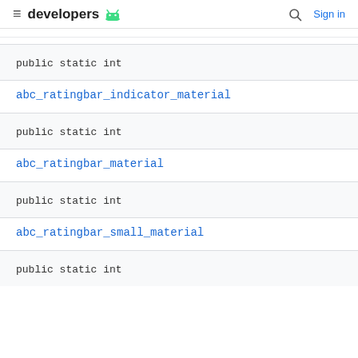≡ developers 🤖  🔍 Sign in
public static int
abc_ratingbar_indicator_material
public static int
abc_ratingbar_material
public static int
abc_ratingbar_small_material
public static int